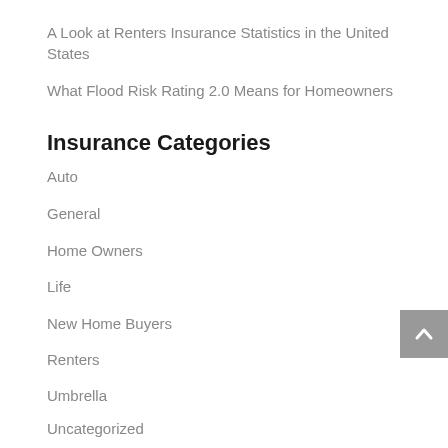A Look at Renters Insurance Statistics in the United States
What Flood Risk Rating 2.0 Means for Homeowners
Insurance Categories
Auto
General
Home Owners
Life
New Home Buyers
Renters
Umbrella
Uncategorized
Archives